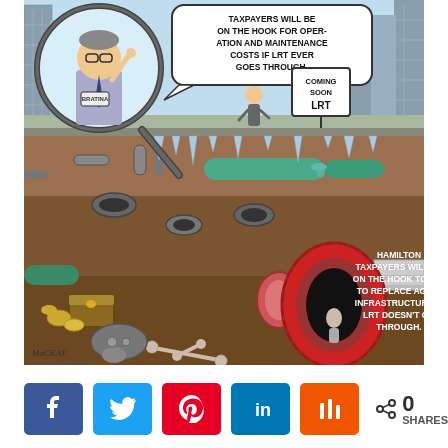[Figure (illustration): Editorial cartoon by MacKay (Hamilton Spectator) showing two panels: Above ground, a politician labeled 'BRATINA' seen through a magnifying glass says 'TAXPAYERS WILL BE ON THE HOOK FOR OPERATION AND MAINTENANCE COSTS IF LRT EVER GOES THROUGH.' Below ground, aging underground infrastructure (pipes, tunnels, conduits) is visible with text: 'HAMILTON TAXPAYERS WILL BE ON THE HOOK TO PAY TO REPLACE AGING INFRASTRUCTURE IF LRT DOESN'T GO THROUGH.' A 'COMING SOON LRT' sign is visible above ground.]
[Figure (infographic): Social share button bar showing Facebook, Twitter, Pinterest, LinkedIn, Mix buttons and a share count of 0 SHARES]